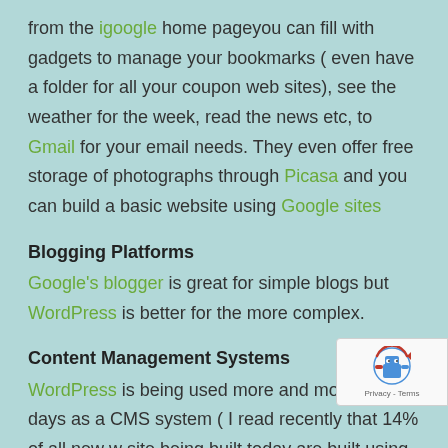from the igoogle home pageyou can fill with gadgets to manage your bookmarks ( even have a folder for all your coupon web sites), see the weather for the week, read the news etc, to Gmail for your email needs. They even offer free storage of photographs through Picasa and you can build a basic website using Google sites
Blogging Platforms
Google's blogger is great for simple blogs but WordPress is better for the more complex.
Content Management Systems
WordPress is being used more and more these days as a CMS system ( I read recently that 14% of all new w site being built today are built using WordPress).
also it is a great application for building a web store
[Figure (other): Google reCAPTCHA badge with robot icon and Privacy - Terms text]